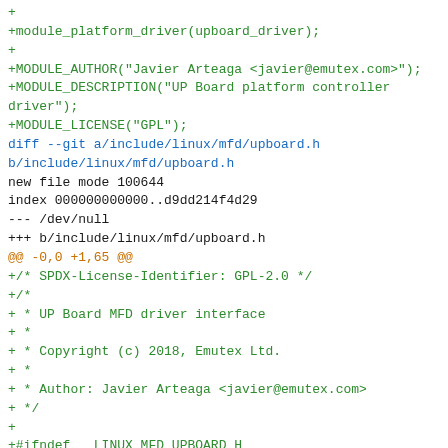Source code diff showing module_platform_driver, MODULE_AUTHOR, MODULE_DESCRIPTION, MODULE_LICENSE declarations followed by a git diff adding b/include/linux/mfd/upboard.h with SPDX license identifier, copyright header, include guards, and UPBOARD_ADDRESS_SIZE, UPBOARD_REGISTER_SIZE, UPBOARD_READ_FLAG macro definitions.